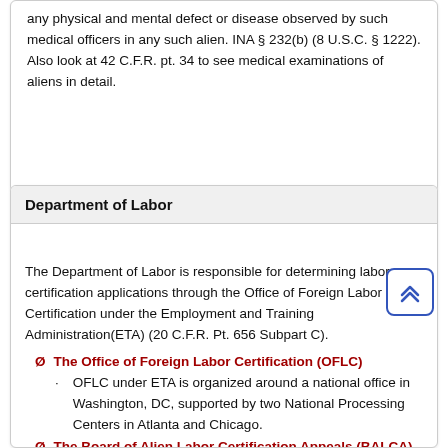any physical and mental defect or disease observed by such medical officers in any such alien. INA § 232(b) (8 U.S.C. § 1222). Also look at 42 C.F.R. pt. 34 to see medical examinations of aliens in detail.
Department of Labor
The Department of Labor is responsible for determining labor certification applications through the Office of Foreign Labor Certification under the Employment and Training Administration(ETA) (20 C.F.R. Pt. 656 Subpart C).
Ø  The Office of Foreign Labor Certification (OFLC)
· OFLC under ETA is organized around a national office in Washington, DC, supported by two National Processing Centers in Atlanta and Chicago.
Ø  The Board of Alien Labor Certification Appeals (BALCA)
· It was established in 1987 to review denials of labor certification applications by Department of Labor certifying officers.  20 C.F.R. § 656.26.  Moreover,